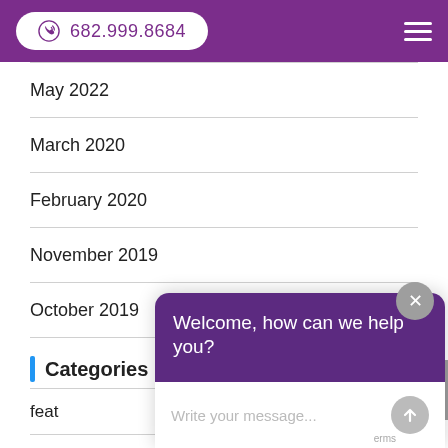682.999.8684
May 2022
March 2020
February 2020
November 2019
October 2019
Categories
feat
new
Unc
[Figure (screenshot): Chat widget overlay with purple header 'Welcome, how can we help you?' and message input field]